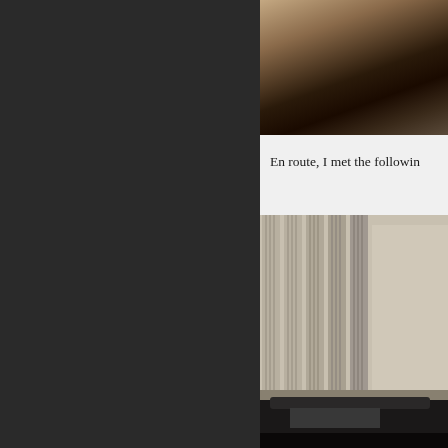[Figure (photo): Partial view of a person, clothing visible, dark tones, cropped at right edge of page]
En route, I met the followin
[Figure (photo): Classical building columns with a dark vehicle in foreground, architectural columns in beige/grey stone]